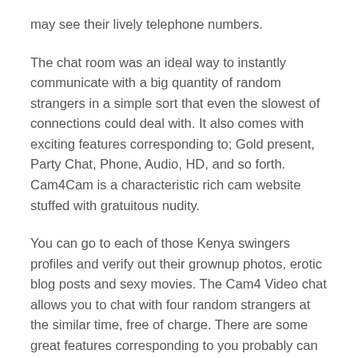may see their lively telephone numbers.
The chat room was an ideal way to instantly communicate with a big quantity of random strangers in a simple sort that even the slowest of connections could deal with. It also comes with exciting features corresponding to; Gold present, Party Chat, Phone, Audio, HD, and so forth. Cam4Cam is a characteristic rich cam website stuffed with gratuitous nudity.
You can go to each of those Kenya swingers profiles and verify out their grownup photos, erotic blog posts and sexy movies. The Cam4 Video chat allows you to chat with four random strangers at the similar time, free of charge. There are some great features corresponding to you probably can complain in regards to the fashions. Even when you’re in a cam session with the mannequin, you’ll be in a position to complain through the HD reside streaming within the private chats. This site additionally options attractive girls getting down in group and